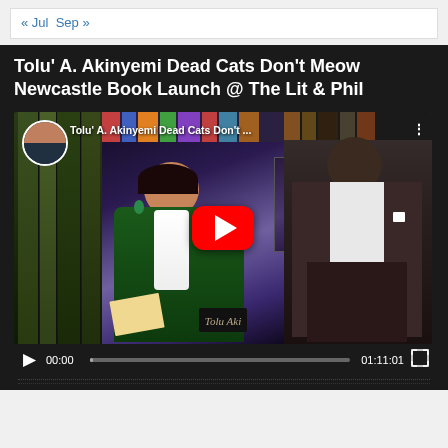« Jul  Sep »
Tolu’ A. Akinyemi Dead Cats Don’t Meow Newcastle Book Launch @ The Lit & Phil
[Figure (screenshot): YouTube video thumbnail showing a book launch event with a woman in green dress and a man in a suit, with YouTube play button overlay. Video title: Tolu’ A. Akinyemi Dead Cats Don’t... Video controls show 00:00 current time and 01:11:01 total duration.]